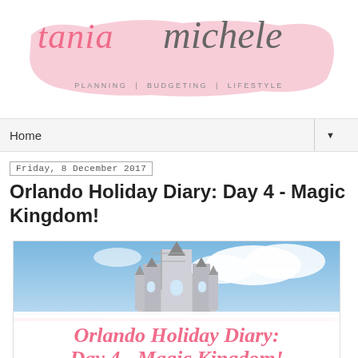[Figure (logo): Tania Michele blog logo with pink brush stroke background. Script text reads 'tania' in pink and 'michele' in dark grey. Tagline: PLANNING | BUDGETING | LIFESTYLE]
Home ▼
Friday, 8 December 2017
Orlando Holiday Diary: Day 4 - Magic Kingdom!
[Figure (photo): Photo of Magic Kingdom castle spires against blue sky with clouds, with overlay text reading 'Orlando Holiday Diary:' and partial second line showing 'Day 4 - Magic Kingdom!']